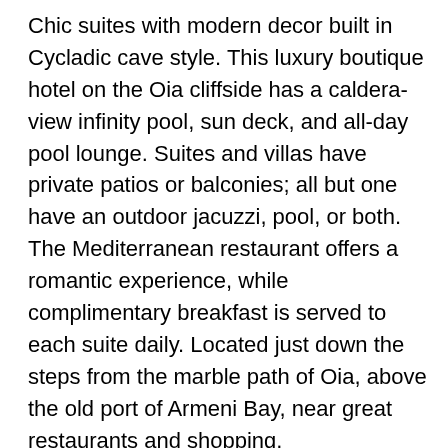Chic suites with modern decor built in Cycladic cave style. This luxury boutique hotel on the Oia cliffside has a caldera-view infinity pool, sun deck, and all-day pool lounge. Suites and villas have private patios or balconies; all but one have an outdoor jacuzzi, pool, or both. The Mediterranean restaurant offers a romantic experience, while complimentary breakfast is served to each suite daily. Located just down the steps from the marble path of Oia, above the old port of Armeni Bay, near great restaurants and shopping.
• Hotel website • Check prices for La Perla